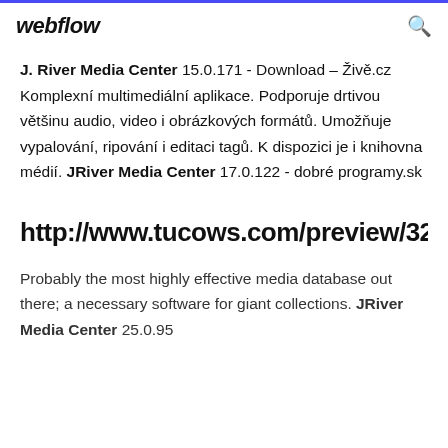webflow
J. River Media Center 15.0.171 - Download – Živě.cz Komplexní multimediální aplikace. Podporuje drtivou většinu audio, video i obrázkových formátů. Umožňuje vypalování, ripování i editaci tagů. K dispozici je i knihovna médií. JRiver Media Center 17.0.122 - dobré programy.sk
http://www.tucows.com/preview/3265
Probably the most highly effective media database out there; a necessary software for giant collections. JRiver Media Center 25.0.95